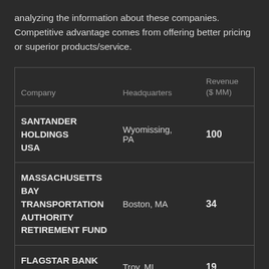analyzing the information about these companies. Competitive advantage comes from offering better pricing or superior products/service.
| Company | Headquarters | Revenue ($ MM) |
| --- | --- | --- |
| SANTANDER HOLDINGS USA | Wyomissing, PA | 100 |
| MASSACHUSETTS BAY TRANSPORTATION AUTHORITY RETIREMENT FUND | Boston, MA | 34 |
| FLAGSTAR BANK FSB | Troy, MI | 19 |